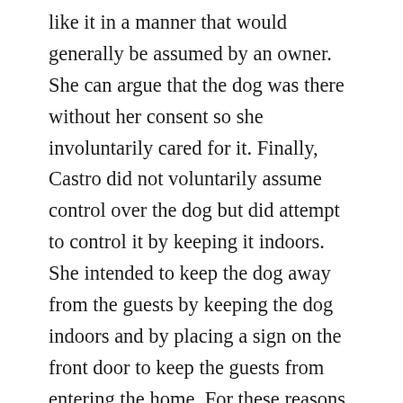like it in a manner that would generally be assumed by an owner. She can argue that the dog was there without her consent so she involuntarily cared for it. Finally, Castro did not voluntarily assume control over the dog but did attempt to control it by keeping it indoors. She intended to keep the dog away from the guests by keeping the dog indoors and by placing a sign on the front door to keep the guests from entering the home. For these reasons, Castro was not the legal owner of the dog at the time the attack occurred, and she should not be held liable under the Illinois Animal Control Act.